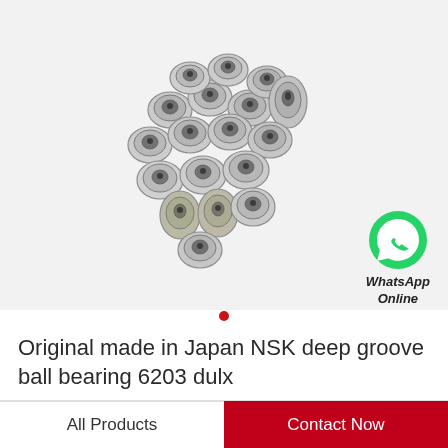[Figure (photo): A pile of small metallic ball bearings (NSK deep groove ball bearings 6203 dulx) scattered together, photographed on a white/light grey background. WhatsApp Online icon visible in lower right of image area.]
WhatsApp Online
Original made in Japan NSK deep groove ball bearing 6203 dulx
All Products
Contact Now